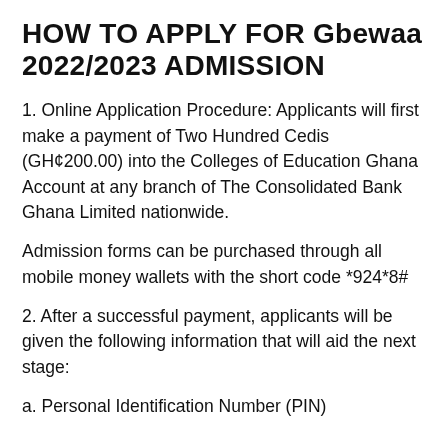HOW TO APPLY FOR Gbewaa 2022/2023 ADMISSION
1. Online Application Procedure: Applicants will first make a payment of Two Hundred Cedis (GH¢200.00) into the Colleges of Education Ghana Account at any branch of The Consolidated Bank Ghana Limited nationwide.
Admission forms can be purchased through all mobile money wallets with the short code *924*8#
2. After a successful payment, applicants will be given the following information that will aid the next stage:
a. Personal Identification Number (PIN)